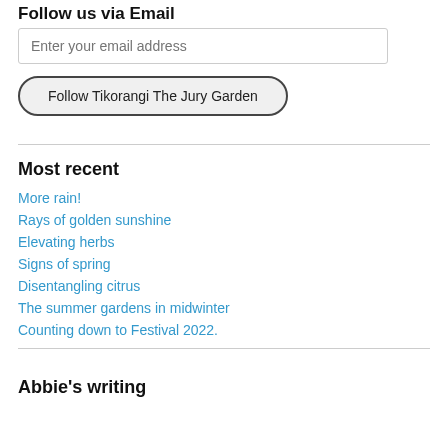Follow us via Email
Enter your email address
Follow Tikorangi The Jury Garden
Most recent
More rain!
Rays of golden sunshine
Elevating herbs
Signs of spring
Disentangling citrus
The summer gardens in midwinter
Counting down to Festival 2022.
Abbie's writing